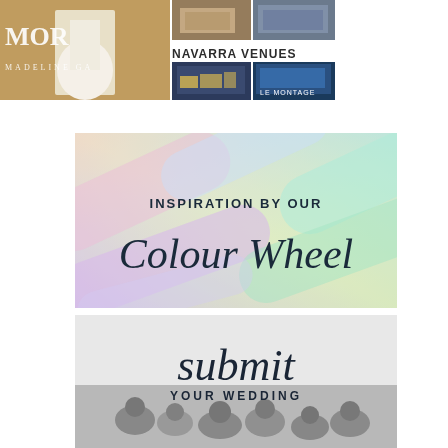[Figure (illustration): Top banner: left side shows a bridal fashion ad with text 'MORI' and 'MADELINE GA...' with a woman in a white gown. Right side shows Navarra Venues collage with venue photos and 'LE MONTAGE' label.]
[Figure (illustration): Colourful blurred rainbow background banner with text 'INSPIRATION BY OUR' in small caps and 'Colour Wheel' in large script font.]
[Figure (illustration): Black and white photo of wedding guests with text 'submit' in large script and 'YOUR WEDDING' in small caps below.]